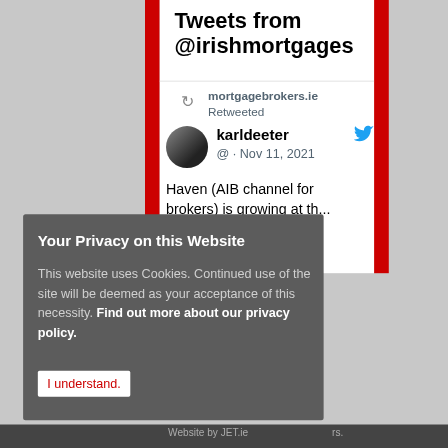Tweets from @irishmortgages
mortgagebrokers.ie Retweeted
karldeeter @ · Nov 11, 2021
Haven (AIB channel for brokers) is growing at th...
Your Privacy on this Website
This website uses Cookies. Continued use of the site will be deemed as your acceptance of this necessity. Find out more about our privacy policy.
I understand.
Website by JET.ie